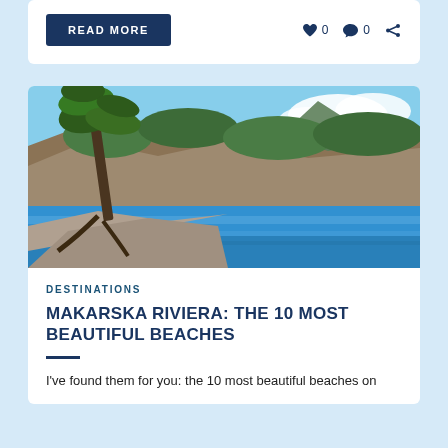READ MORE
0  0
[Figure (photo): Scenic coastal photo of the Makarska Riviera showing a pine tree in the foreground, rocky limestone cliffs covered in green vegetation, and calm turquoise-blue sea with mountains in the background and blue sky with clouds.]
DESTINATIONS
MAKARSKA RIVIERA: THE 10 MOST BEAUTIFUL BEACHES
I've found them for you: the 10 most beautiful beaches on